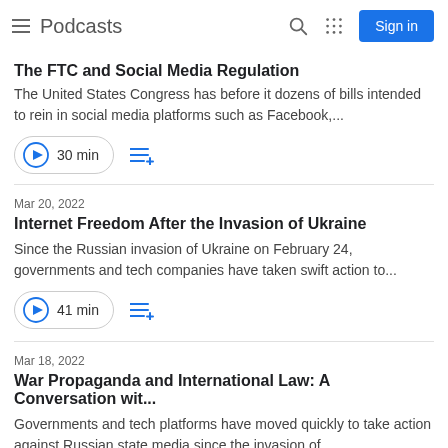Podcasts
The FTC and Social Media Regulation
The United States Congress has before it dozens of bills intended to rein in social media platforms such as Facebook,...
30 min
Mar 20, 2022
Internet Freedom After the Invasion of Ukraine
Since the Russian invasion of Ukraine on February 24, governments and tech companies have taken swift action to...
41 min
Mar 18, 2022
War Propaganda and International Law: A Conversation wit...
Governments and tech platforms have moved quickly to take action against Russian state media since the invasion of...